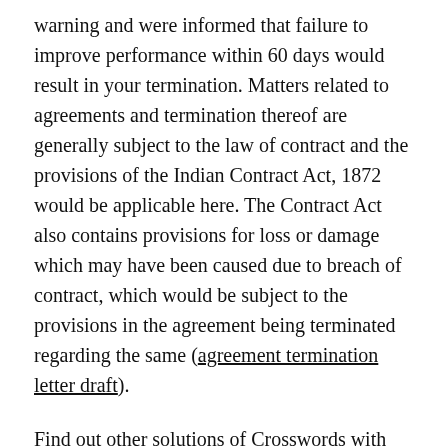warning and were informed that failure to improve performance within 60 days would result in your termination. Matters related to agreements and termination thereof are generally subject to the law of contract and the provisions of the Indian Contract Act, 1872 would be applicable here. The Contract Act also contains provisions for loss or damage which may have been caused due to breach of contract, which would be subject to the provisions in the agreement being terminated regarding the same (agreement termination letter draft).
Find out other solutions of Crosswords with Friends December 3 2020 Answers. Below are the possible answers to the crossword agreement. Author and channel David Astle created crossword puzzles for Fairfax newspapers among da initials, fans say Dont Attempt. The opinion also calls for a synonym for soft, so we can conclude that the five-digit solution